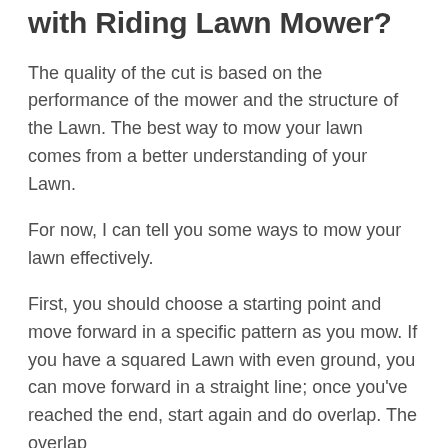with Riding Lawn Mower?
The quality of the cut is based on the performance of the mower and the structure of the Lawn. The best way to mow your lawn comes from a better understanding of your Lawn.
For now, I can tell you some ways to mow your lawn effectively.
First, you should choose a starting point and move forward in a specific pattern as you mow. If you have a squared Lawn with even ground, you can move forward in a straight line; once you've reached the end, start again and do overlap. The overlap